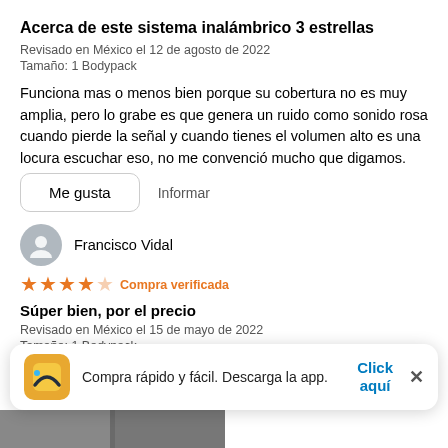Acerca de este sistema inalámbrico 3 estrellas
Revisado en México el 12 de agosto de 2022
Tamaño: 1 Bodypack
Funciona mas o menos bien porque su cobertura no es muy amplia, pero lo grabe es que genera un ruido como sonido rosa cuando pierde la señal y cuando tienes el volumen alto es una locura escuchar eso, no me convenció mucho que digamos.
Me gusta
Informar
Francisco Vidal
★★★★☆ Compra verificada
Súper bien, por el precio
Revisado en México el 15 de mayo de 2022
Tamaño: 1 Bodypack
Compra rápido y fácil. Descarga la app.